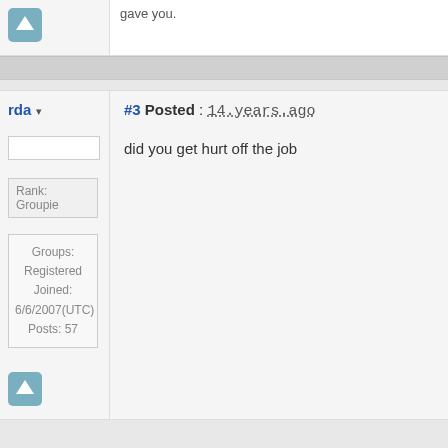gave you.
rda
#3 Posted : 14 years ago
did you get hurt off the job
Rank: Groupie
Groups: Registered
Joined: 6/6/2007(UTC)
Posts: 57